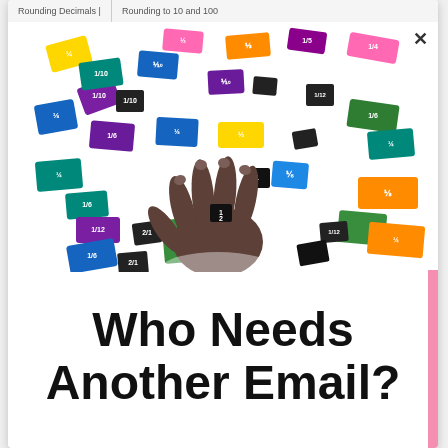Rounding Decimals | Rounding to 10 and 100
[Figure (photo): A child's hand holding a small black fraction tile among many colorful fraction tiles scattered on a white surface. Tiles show fractions like 1/2, 1/3, 1/4, 1/6, 1/8, 1/10, 1/12, etc. in various colors including blue, green, purple, teal, orange, yellow, pink, and black.]
Who Needs Another Email?